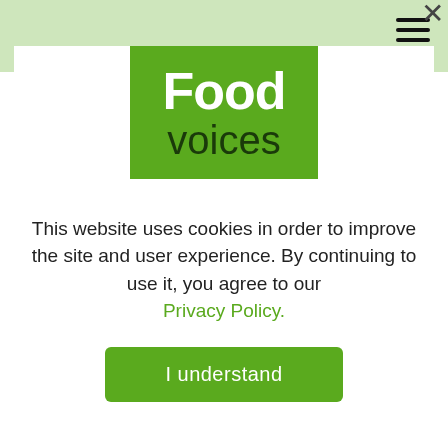many features of table service technologies that can be used to save time and increase restaurant efficiency. A necessity for many restaurant owners at the moment as they continue to suffer from staff shortages, with 45% of restaurant/cafe owners confessing that they are having to ask staff to work longer hours and 47% having to work
[Figure (logo): Food Voices logo — green background rectangle with 'Food' in large white bold text and 'voices' in dark green below]
This website uses cookies in order to improve the site and user experience. By continuing to use it, you agree to our Privacy Policy.
I understand